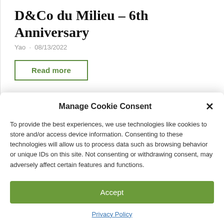D&Co du Milieu – 6th Anniversary
Yao · 08/13/2022
Read more
Manage Cookie Consent
To provide the best experiences, we use technologies like cookies to store and/or access device information. Consenting to these technologies will allow us to process data such as browsing behavior or unique IDs on this site. Not consenting or withdrawing consent, may adversely affect certain features and functions.
Accept
Privacy Policy